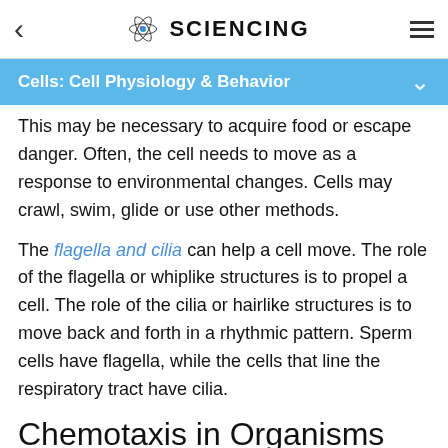< SCIENCING ≡
Cells: Cell Physiology & Behavior
This may be necessary to acquire food or escape danger. Often, the cell needs to move as a response to environmental changes. Cells may crawl, swim, glide or use other methods.
The flagella and cilia can help a cell move. The role of the flagella or whiplike structures is to propel a cell. The role of the cilia or hairlike structures is to move back and forth in a rhythmic pattern. Sperm cells have flagella, while the cells that line the respiratory tract have cilia.
Chemotaxis in Organisms